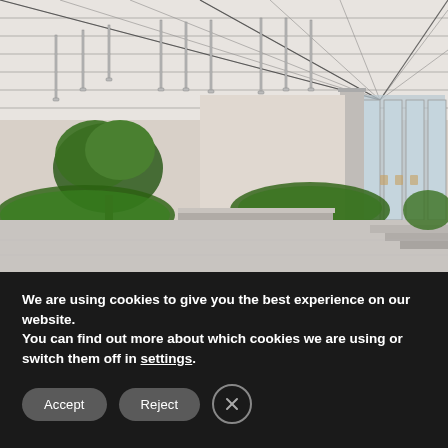[Figure (photo): Interior architectural rendering of a modern atrium space with a white grid ceiling with pendant lights, indoor garden planters with trees and shrubs, concrete benches, large floor-to-ceiling windows on the right side, and a light grey polished floor.]
We are using cookies to give you the best experience on our website.
You can find out more about which cookies we are using or switch them off in settings.
Accept   Reject   ×